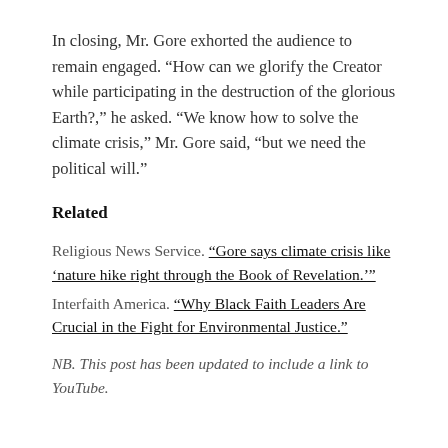In closing, Mr. Gore exhorted the audience to remain engaged. “How can we glorify the Creator while participating in the destruction of the glorious Earth?,” he asked. “We know how to solve the climate crisis,” Mr. Gore said, “but we need the political will.”
Related
Religious News Service. “Gore says climate crisis like ‘nature hike right through the Book of Revelation.’”
Interfaith America. “Why Black Faith Leaders Are Crucial in the Fight for Environmental Justice.”
NB. This post has been updated to include a link to YouTube.